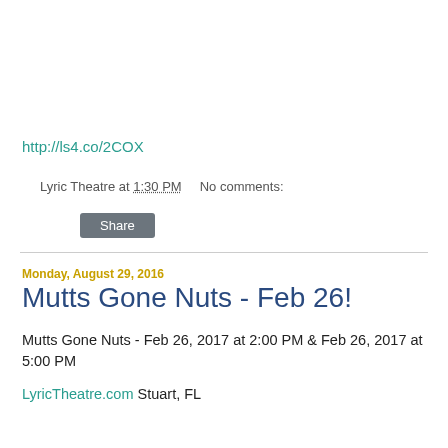http://ls4.co/2COX
Lyric Theatre at 1:30 PM    No comments:
Share
Monday, August 29, 2016
Mutts Gone Nuts - Feb 26!
Mutts Gone Nuts - Feb 26, 2017 at 2:00 PM & Feb 26, 2017 at 5:00 PM
LyricTheatre.com Stuart, FL